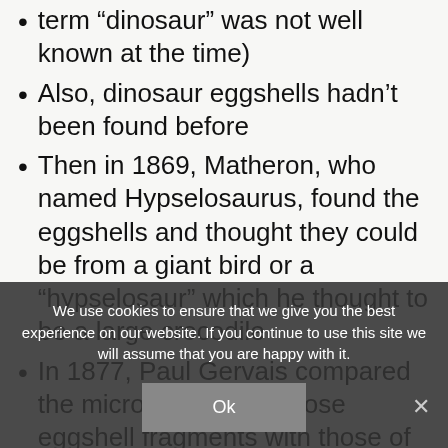term “dinosaur” was not well known at the time)
Also, dinosaur eggshells hadn’t been found before
Then in 1869, Matheron, who named Hypselosaurus, found the eggshells and thought they could be from a giant bird or a “hypselosaur” which he thought to be a large crocodile
In 1877, Paul Gervais compared the microstructure of those eggshell fragments with those of different birds, tortoises, crocodiles, and geckos to figure out what laid
He thought they matched tortoises, and said we couldn’t know if the eggshells were from a dinosaur “because we completely do not know the characteristics of the dinosaur’s egg”
We use cookies to ensure that we give you the best experience on our website. If you continue to use this site we will assume that you are happy with it.